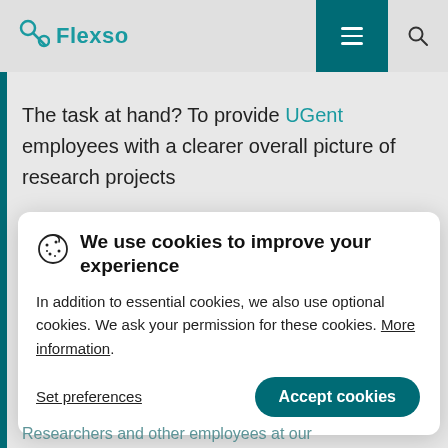Flexso
The task at hand? To provide UGent employees with a clearer overall picture of research projects
We use cookies to improve your experience
In addition to essential cookies, we also use optional cookies. We ask your permission for these cookies. More information.
Set preferences | Accept cookies
Researchers and other employees at our